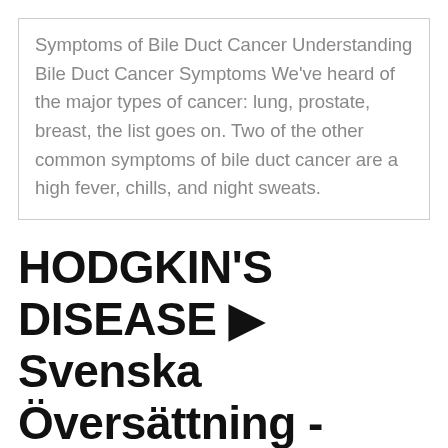Symptoms of Bile Duct Cancer Understanding Bile Duct Cancer Symptoms We've heard of the major types of cancer: lung, prostate, breast, the list goes on. Two of the other common symptoms of bile duct cancer are a high fever, chills, and night sweats.
HODGKIN'S DISEASE ▶ Svenska Översättning - Exempel På
This turns the skin and the eyes yellow, a condition called Terminal bile duct cancer 24 Jan 2019 21:28 in response to Bob C hi my partner was diagnosed